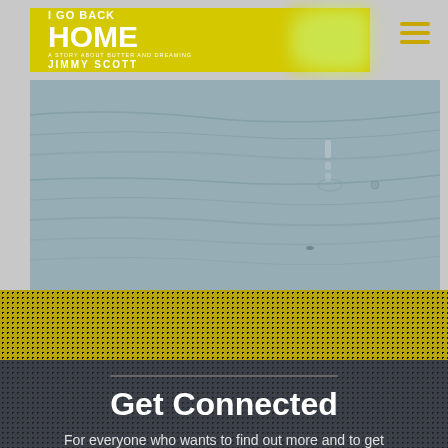I GO BACK HOME — JIMMY SCOTT
[Figure (photo): Close-up photograph of a wooden surface showing grey-blue wood grain texture]
Get Connected
For everyone who wants to find out more and to get